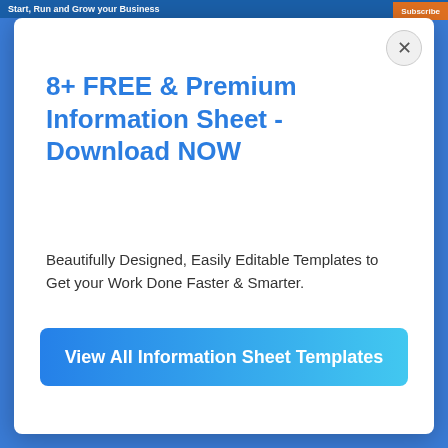Start, Run and Grow your Business
8+ FREE & Premium Information Sheet - Download NOW
Beautifully Designed, Easily Editable Templates to Get your Work Done Faster & Smarter.
View All Information Sheet Templates